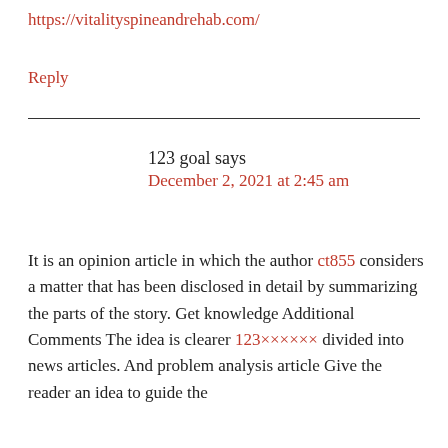https://vitalityspineandrehab.com/
Reply
123 goal says
December 2, 2021 at 2:45 am
It is an opinion article in which the author ct855 considers a matter that has been disclosed in detail by summarizing the parts of the story. Get knowledge Additional Comments The idea is clearer 123×××××× divided into news articles. And problem analysis article Give the reader an idea to guide the